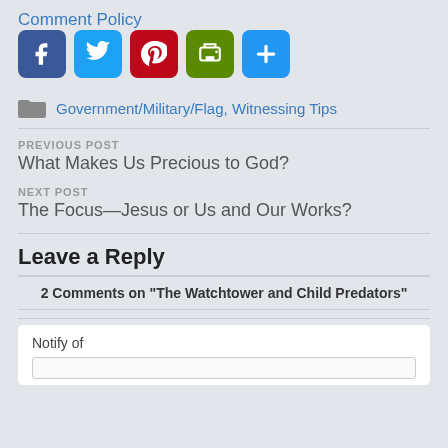Comment Policy
[Figure (infographic): Social sharing icons: Facebook (blue), Twitter (light blue), Pinterest (dark red), Print (green), Share/Plus (blue)]
Government/Military/Flag, Witnessing Tips
PREVIOUS POST
What Makes Us Precious to God?
NEXT POST
The Focus—Jesus or Us and Our Works?
Leave a Reply
2 Comments on "The Watchtower and Child Predators"
Notify of